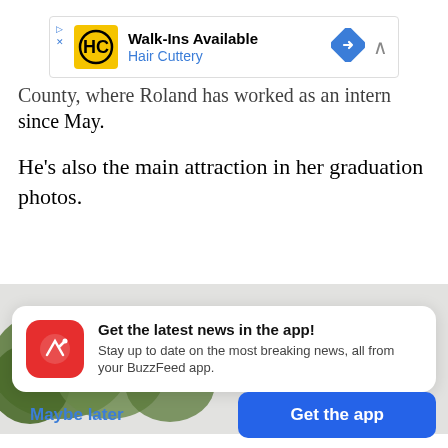[Figure (screenshot): Advertisement banner for Hair Cuttery with yellow HC logo, Walk-Ins Available text, blue navigation arrow icon, and close button]
County, where Roland has worked as an intern since May.
He's also the main attraction in her graduation photos.
[Figure (photo): Partial photo of a woman in a graduation cap smiling, with trees and sky in the background]
Get the latest news in the app! Stay up to date on the most breaking news, all from your BuzzFeed app.
Maybe later
Get the app